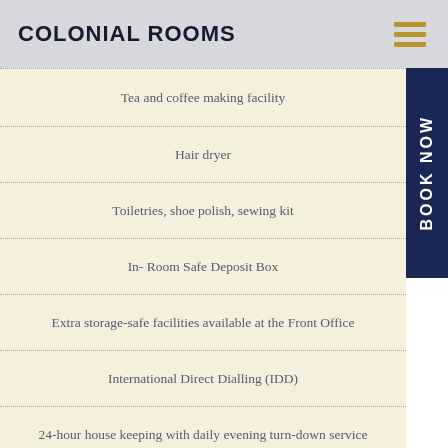COLONIAL ROOMS
Tea and coffee making facility
Hair dryer
Toiletries, shoe polish, sewing kit
In- Room Safe Deposit Box
Extra storage-safe facilities available at the Front Office
International Direct Dialling (IDD)
24-hour house keeping with daily evening turn-down service
Mini bar